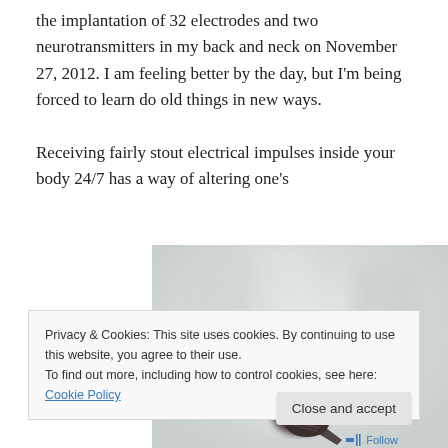the implantation of 32 electrodes and two neurotransmitters in my back and neck on November 27, 2012. I am feeling better by the day, but I'm being forced to learn do old things in new ways.

Receiving fairly stout electrical impulses inside your body 24/7 has a way of altering one's
[Figure (photo): A small red-headed bird (finch or similar) perched, photographed against a blurred light background.]
Privacy & Cookies: This site uses cookies. By continuing to use this website, you agree to their use.
To find out more, including how to control cookies, see here: Cookie Policy
Close and accept